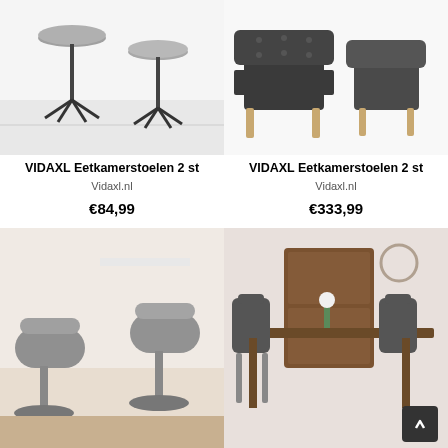[Figure (photo): Two grey round stools with black star-base legs on a light tile floor]
VIDAXL Eetkamerstoelen 2 st
Vidaxl.nl
€84,99
[Figure (photo): Two dark grey tufted armchairs with wooden legs on white background]
VIDAXL Eetkamerstoelen 2 st
Vidaxl.nl
€333,99
[Figure (photo): Two grey bucket bar stools with chrome pedestal bases on a wooden floor]
[Figure (photo): Dark grey dining chairs around a wooden table with a cabinet in the background]